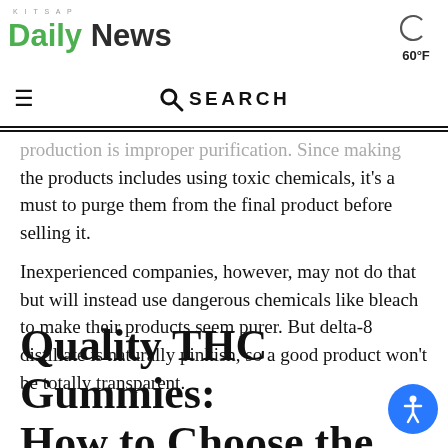KITSAP Daily News | 60°F
production is improper purification. Since making the products includes using toxic chemicals, it's a must to purge them from the final product before selling it.
Inexperienced companies, however, may not do that but will instead use dangerous chemicals like bleach to make their products seem purer. But delta-8 distillate is naturally pinkish, so a good product won't be totally transparent.
Quality THC Gummies: How to Choose the Best Brand